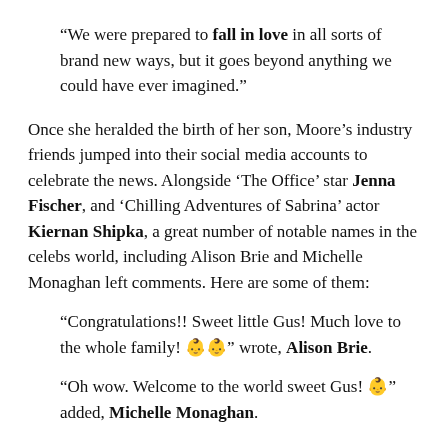“We were prepared to fall in love in all sorts of brand new ways, but it goes beyond anything we could have ever imagined.”
Once she heralded the birth of her son, Moore’s industry friends jumped into their social media accounts to celebrate the news. Alongside ‘The Office’ star Jenna Fischer, and ‘Chilling Adventures of Sabrina’ actor Kiernan Shipka, a great number of notable names in the celebs world, including Alison Brie and Michelle Monaghan left comments. Here are some of them:
“Congratulations!! Sweet little Gus! Much love to the whole family! 👶👶” wrote, Alison Brie.
“Oh wow. Welcome to the world sweet Gus! 👶” added, Michelle Monaghan.